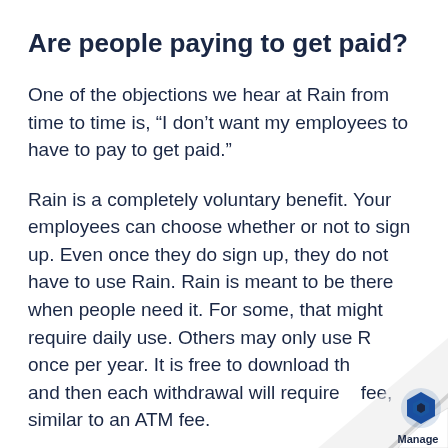Are people paying to get paid?
One of the objections we hear at Rain from time to time is, “I don’t want my employees to have to pay to get paid.”
Rain is a completely voluntary benefit. Your employees can choose whether or not to sign up. Even once they do sign up, they do not have to use Rain. Rain is meant to be there when people need it. For some, that might require daily use. Others may only use Rain once per year. It is free to download the app and then each withdrawal will require a fee, similar to an ATM fee.
[Figure (logo): Page curl effect in bottom-right corner with a hexagonal blue logo and the word Manage beneath it]